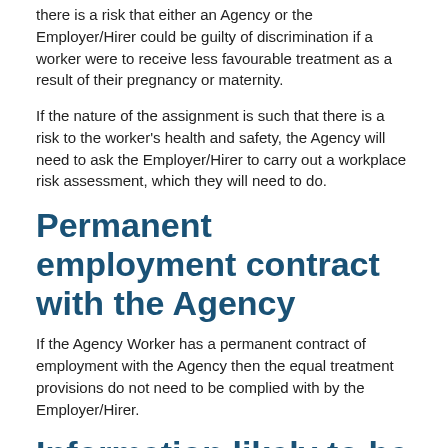there is a risk that either an Agency or the Employer/Hirer could be guilty of discrimination if a worker were to receive less favourable treatment as a result of their pregnancy or maternity.
If the nature of the assignment is such that there is a risk to the worker's health and safety, the Agency will need to ask the Employer/Hirer to carry out a workplace risk assessment, which they will need to do.
Permanent employment contract with the Agency
If the Agency Worker has a permanent contract of employment with the Agency then the equal treatment provisions do not need to be complied with by the Employer/Hirer.
Information likely to be